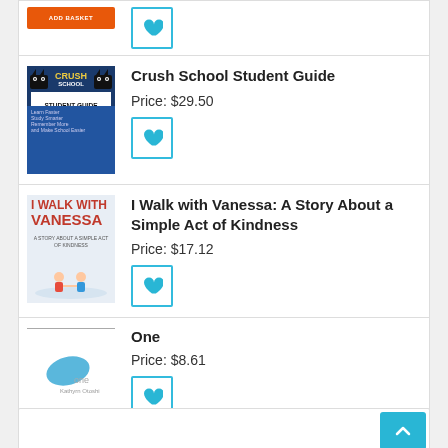[Figure (illustration): Book cover for Crush School Student Guide with cats and blue background]
Crush School Student Guide
Price: $29.50
[Figure (illustration): Book cover for I Walk with Vanessa with winter scene]
I Walk with Vanessa: A Story About a Simple Act of Kindness
Price: $17.12
[Figure (illustration): Book cover for One with blue oval shape]
One
Price: $8.61